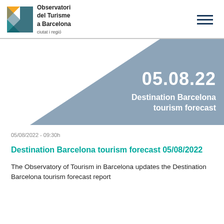Observatori del Turisme a Barcelona
citat i regio
[Figure (illustration): Hero banner with a gray diagonal triangle background shape containing the date 05.08.22 and subtitle 'Destination Barcelona tourism forecast' in white text on right side.]
05/08/2022 - 09:30h
Destination Barcelona tourism forecast 05/08/2022
The Observatory of Tourism in Barcelona updates the Destination Barcelona tourism forecast report